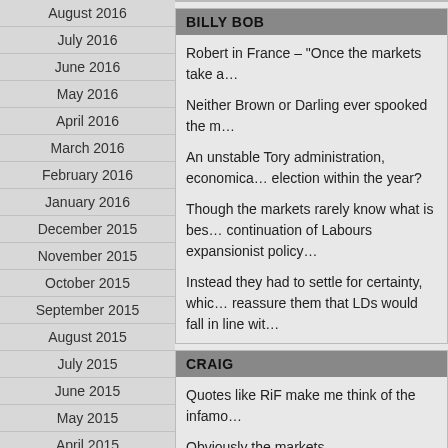August 2016
July 2016
June 2016
May 2016
April 2016
March 2016
February 2016
January 2016
December 2015
November 2015
October 2015
September 2015
August 2015
July 2015
June 2015
May 2015
April 2015
March 2015
February 2015
January 2015
December 2014
November 2014
BILLY BOB
Robert in France – “Once the markets take a…
Neither Brown or Darling ever spooked the m…
An unstable Tory administration, economica… election within the year?
Though the markets rarely know what is bes… continuation of Labours expansionist policy…
Instead they had to settle for certainty, whic… reassure them that LDs would fall in line wit…
CRAIG
Quotes like RiF make me think of the infamo…
Obviously the markets.